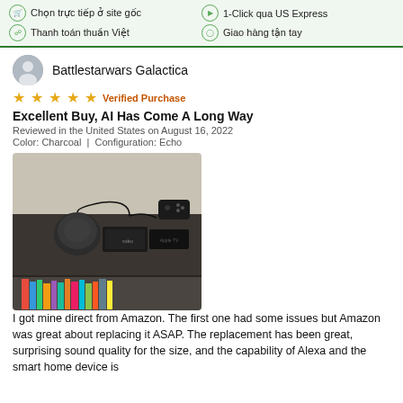Chọn trực tiếp ở site gốc | Thanh toán thuần Việt | 1-Click qua US Express | Giao hàng tận tay
Battlestarwars Galactica
★★★★★ Verified Purchase
Excellent Buy, AI Has Come A Long Way
Reviewed in the United States on August 16, 2022
Color: Charcoal  |  Configuration: Echo
[Figure (photo): Photo of an Amazon Echo Dot (4th gen) smart speaker sitting on a dark wood shelf/cabinet alongside a Roku streaming device and Apple TV box, with a game controller visible at the top right and books on the lower shelf.]
I got mine direct from Amazon. The first one had some issues but Amazon was great about replacing it ASAP. The replacement has been great, surprising sound quality for the size, and the capability of Alexa and the smart home device is